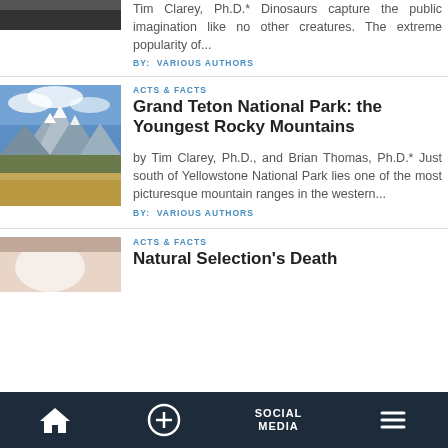[Figure (photo): Partial view of a dark/black image at the top left (cropped article image)]
Tim Clarey, Ph.D.* Dinosaurs capture the public imagination like no other creatures. The extreme popularity of...
BY:  VARIOUS AUTHORS
[Figure (photo): Photo of Grand Teton National Park showing mountain range with snowy peaks against blue sky and flat plains in foreground]
ACTS & FACTS
Grand Teton National Park: the Youngest Rocky Mountains
by Tim Clarey, Ph.D., and Brian Thomas, Ph.D.* Just south of Yellowstone National Park lies one of the most picturesque mountain ranges in the western...
BY:  VARIOUS AUTHORS
[Figure (photo): Partial view of a food/cooking related photo at the bottom left (cropped)]
ACTS & FACTS
Natural Selection's Death
SOCIAL MEDIA